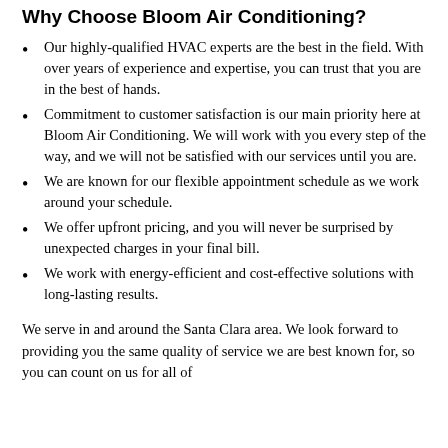Why Choose Bloom Air Conditioning?
Our highly-qualified HVAC experts are the best in the field. With over years of experience and expertise, you can trust that you are in the best of hands.
Commitment to customer satisfaction is our main priority here at Bloom Air Conditioning. We will work with you every step of the way, and we will not be satisfied with our services until you are.
We are known for our flexible appointment schedule as we work around your schedule.
We offer upfront pricing, and you will never be surprised by unexpected charges in your final bill.
We work with energy-efficient and cost-effective solutions with long-lasting results.
We serve in and around the Santa Clara area. We look forward to providing you the same quality of service we are best known for, so you can count on us for all of